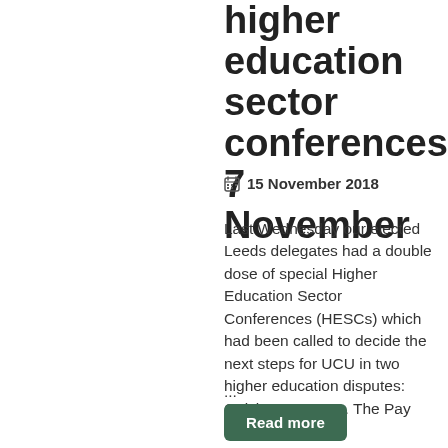higher education sector conferences 7 November
15 November 2018
Last Wednesday our elected Leeds delegates had a double dose of special Higher Education Sector Conferences (HESCs) which had been called to decide the next steps for UCU in two higher education disputes: Quick summary 1. The Pay and Equality
...
Read more